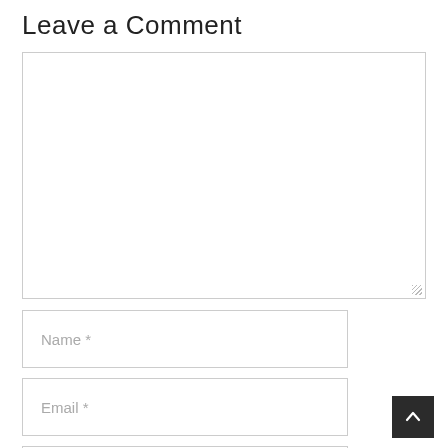Leave a Comment
[Figure (other): Large empty comment text area input box with resize handle in bottom-right corner]
Name *
Email *
Website